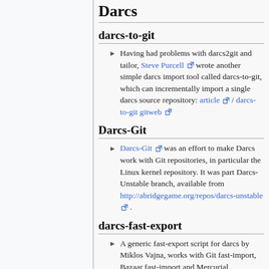Darcs
darcs-to-git
Having had problems with darcs2git and tailor, Steve Purcell [external link] wrote another simple darcs import tool called darcs-to-git, which can incrementally import a single darcs source repository: article [external link] / darcs-to-git gitweb [external link]
Darcs-Git
Darcs-Git [external link] was an effort to make Darcs work with Git repositories, in particular the Linux kernel repository. It was part Darcs-Unstable branch, available from http://abridgegame.org/repos/darcs-unstable [external link] .
darcs-fast-export
A generic fast-export script for darcs by Miklos Vajna, works with Git fast-import, Bazaar fast-import and Mercurial fastimport. Vajna's original has disappeared, but a GitHub clone